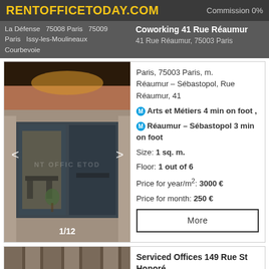RENTOFFICETODAY.COM
Commission 0%
La Défense  75008 Paris  75009 Paris  Issy-les-Moulineaux  Courbevoie
Coworking 41 Rue Réaumur
41 Rue Réaumur, 75003 Paris
[Figure (photo): Street-level photo of Coworking 41 Rue Réaumur showing glass facade and interior seating, image counter 1/12]
Paris, 75003 Paris, m. Réaumur – Sébastopol, Rue Réaumur, 41
Arts et Métiers 4 min on foot ,
Réaumur – Sébastopol 3 min on foot
Size: 1 sq. m.
Floor: 1 out of 6
Price for year/m²: 3000 €
Price for month: 250 €
More
[Figure (photo): Partial photo of Serviced Offices 149 Rue St Honoré]
Serviced Offices 149 Rue St Honoré